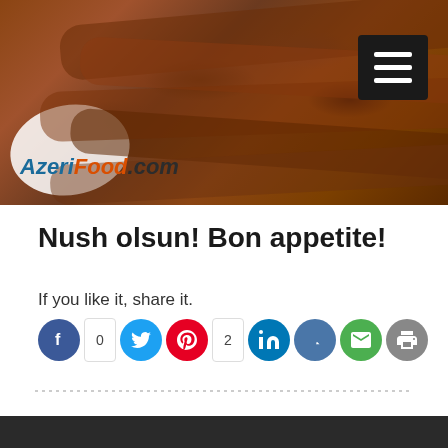[Figure (photo): Header photo of grilled meat skewers (lula kebab) on a plate with AzeriFood.com logo overlay and hamburger menu icon in top right]
Nush olsun! Bon appetite!
If you like it, share it.
[Figure (infographic): Social sharing icons row: Facebook (0), Twitter, Pinterest (2), LinkedIn, VK, Email, Print]